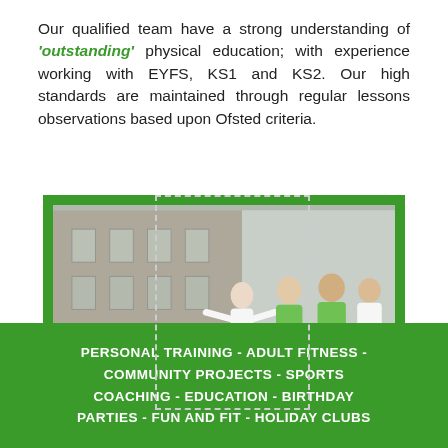Our qualified team have a strong understanding of 'outstanding' physical education; with experience working with EYFS, KS1 and KS2. Our high standards are maintained through regular lessons observations based upon Ofsted criteria.
[Figure (photo): Children running outdoors in school sportswear, some wearing green bibs, with a stone building in the background. Image is framed by a green border.]
PERSONAL TRAINING - ADULT FITNESS - COMMUNITY PROJECTS - SPORTS COACHING - EDUCATION - BIRTHDAY PARTIES - FUN AND FIT - HOLIDAY CLUBS